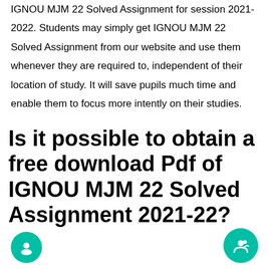IGNOU MJM 22 Solved Assignment for session 2021-2022. Students may simply get IGNOU MJM 22 Solved Assignment from our website and use them whenever they are required to, independent of their location of study. It will save pupils much time and enable them to focus more intently on their studies.
Is it possible to obtain a free download Pdf of IGNOU MJM 22 Solved Assignment 2021-22?